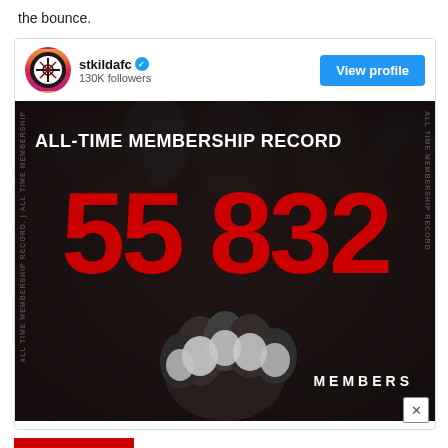the bounce.
[Figure (screenshot): Instagram profile card for stkildafc (130K followers) showing a dark promotional graphic with the text 'ALL-TIME MEMBERSHIP RECORD' and the number 55,832 in large red text with 'MEMBERS' below, overlaid on a crowd and players image. A 'View profile' button appears in the top right of the card.]